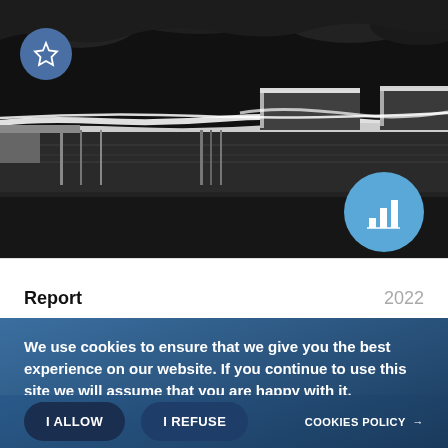[Figure (photo): Grayscale scanning electron microscope (SEM) cross-section image of a semiconductor or MEMS device showing layered structures, electrodes, and substrate material. A star/bookmark icon circle appears top-left and a bar-chart icon circle appears bottom-right of the image.]
Report   2022
We use cookies to ensure that we give you the best experience on our website. If you continue to use this site we will assume that you are happy with it.
MANAGE MY PREFERENCES →
I ALLOW   I REFUSE   COOKIES POLICY →